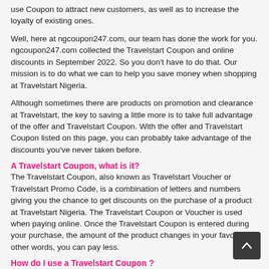use Coupon to attract new customers, as well as to increase the loyalty of existing ones.
Well, here at ngcoupon247.com, our team has done the work for you. ngcoupon247.com collected the Travelstart Coupon and online discounts in September 2022. So you don't have to do that. Our mission is to do what we can to help you save money when shopping at Travelstart Nigeria.
Although sometimes there are products on promotion and clearance at Travelstart, the key to saving a little more is to take full advantage of the offer and Travelstart Coupon. With the offer and Travelstart Coupon listed on this page, you can probably take advantage of the discounts you've never taken before.
A Travelstart Coupon, what is it?
The Travelstart Coupon, also known as Travelstart Voucher or Travelstart Promo Code, is a combination of letters and numbers giving you the chance to get discounts on the purchase of a product at Travelstart Nigeria. The Travelstart Coupon or Voucher is used when paying online. Once the Travelstart Coupon is entered during your purchase, the amount of the product changes in your favor. In other words, you can pay less.
How do I use a Travelstart Coupon ?
Now maybe you're new to our site and probably want to know how to use the Travelstart Coupon.
To use a Travelstart Coupon from our website, it's very simple. So here we go.
First, browse the list of Travelstart Coupon on this page and find the one you need.
And then click on the "Get Code / Get Deal" button. Copy the Travelstart Coupon